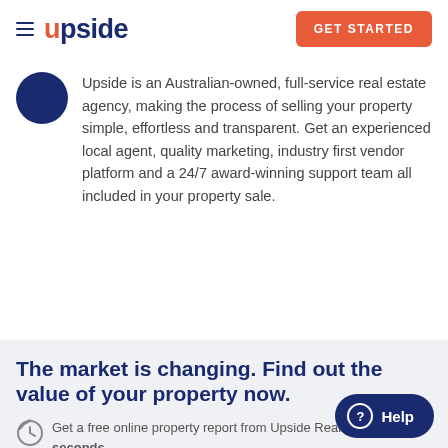upside | GET STARTED
Upside is an Australian-owned, full-service real estate agency, making the process of selling your property simple, effortless and transparent. Get an experienced local agent, quality marketing, industry first vendor platform and a 24/7 award-winning support team all included in your property sale.
The market is changing. Find out the value of your property now.
Get a free online property report from Upside Realty. It takes seconds.